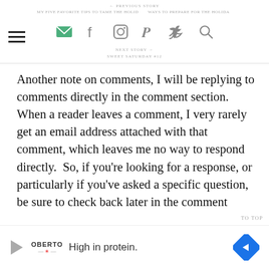← PREVIOUS STORY
MY FIVE FAVORITE TIPS TO TAME THE HOLIDAY CRAZY (WAYS TO PREPARE FOR THE HOLIDAYS)
NEXT STORY →
SWEET SATURDAY #12
Another note on comments, I will be replying to comments directly in the comment section.  When a reader leaves a comment, I very rarely get an email address attached with that comment, which leaves me no way to respond directly.  So, if you're looking for a response, or particularly if you've asked a specific question, be sure to check back later in the comment section for my answer.  I'll try to reply as timely as possible, but please always feel free to email me your question directly if it's more urgent (use that handy "Contact" link at the top m…
TO TOP